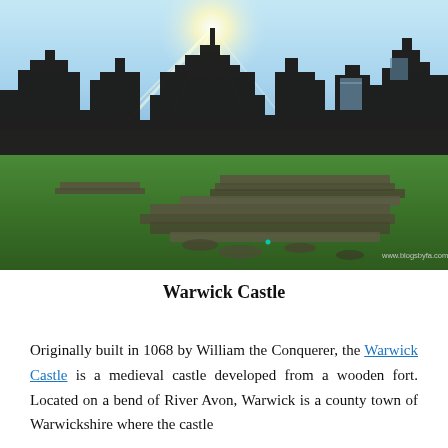[Figure (photo): Photograph of Warwick Castle ruins backlit by sun, with green grass in foreground and stone ruins silhouetted against a blue sky. Watermark reads www.blogsbyfa.com]
Warwick Castle
Originally built in 1068 by William the Conquerer, the Warwick Castle is a medieval castle developed from a wooden fort. Located on a bend of River Avon, Warwick is a county town of Warwickshire where the castle